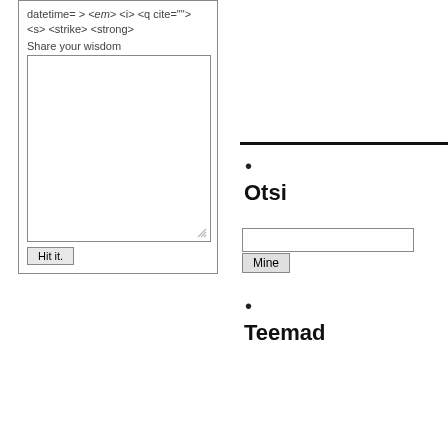datetime= > <em> <i> <q cite=""> <s> <strike> <strong>
Share your wisdom
Hit it.
•
Otsi
Mine
•
Teemad